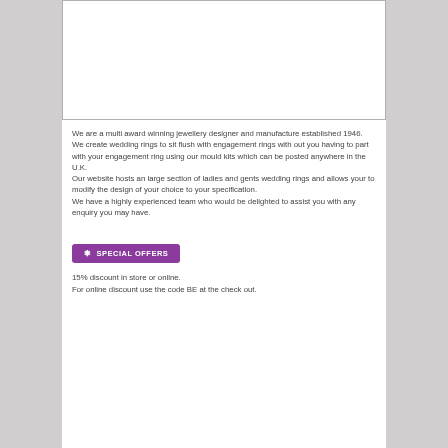[Figure (other): White rectangular image placeholder area with border]
We are a multi award winning jewellery designer and manufacture established 1946. We create wedding rings to sit flush with engagement rings with out you having to part with your engagement ring using our mould kits which can be posted anywhere in the U.K. Our website hosts an large section of ladies and gents wedding rings and allows your to modify the design of your choice to your specification. We have a highly experienced team who would be delighted to assist you with any enquiry you may have.
* SPECIAL OFFERS
15% discount in store or online. For online discount use the code BE at the check out.